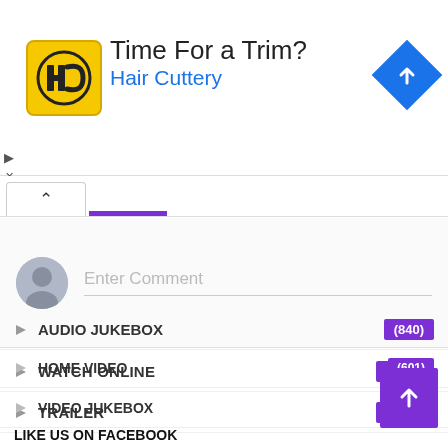[Figure (logo): Hair Cuttery advertisement banner with HC logo, 'Time For a Trim?' title, 'Hair Cuttery' subtitle in blue, and a blue navigation diamond icon]
[Figure (screenshot): Tab bar with up-caret active tab and purple underline indicator]
[Figure (screenshot): Comment input area with grey avatar and 'Enter Comment' placeholder text]
WATCH ONLINE (1199)
TRAILER (1199)
AUDIO JUKEBOX (840)
HOME VIDEO (601)
VIDEO JUKEBOX
LIKE US ON FACEBOOK